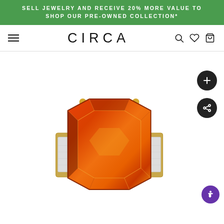SELL JEWELRY AND RECEIVE 20% MORE VALUE TO SHOP OUR PRE-OWNED COLLECTION*
[Figure (logo): CIRCA jewelry brand logo in stylized sans-serif uppercase letters]
[Figure (photo): A large emerald-cut orange/amber gemstone ring set in yellow gold with diamond side accents, displayed against a white background]